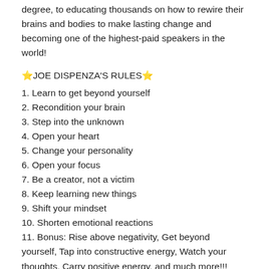degree, to educating thousands on how to rewire their brains and bodies to make lasting change and becoming one of the highest-paid speakers in the world!
⭐JOE DISPENZA'S RULES⭐
1. Learn to get beyond yourself
2. Recondition your brain
3. Step into the unknown
4. Open your heart
5. Change your personality
6. Open your focus
7. Be a creator, not a victim
8. Keep learning new things
9. Shift your mindset
10. Shorten emotional reactions
11. Bonus: Rise above negativity, Get beyond yourself, Tap into constructive energy, Watch your thoughts, Carry positive energy, and much more!!!